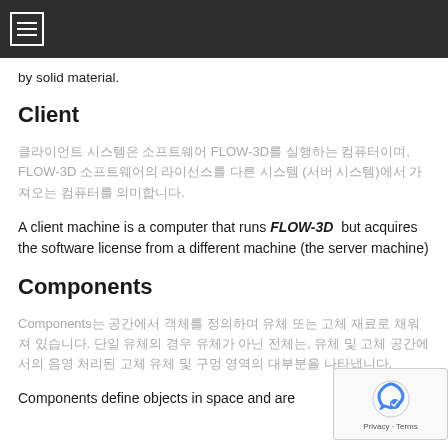by solid material.
Client
클라이언트 시스템은 소프트웨어 FLOW-3D를 실행하는 컴퓨터이며, FLOW-3D 소프트웨어의 라이선스를 다른 시스템 (서버 시스템)에서 가져오는 컴퓨터를 의미합니다.
A client machine is a computer that runs FLOW-3D but acquires the software license from a different machine (the server machine)
Components
Components는 공간에서 객체를 정의하며 유체 또는 고체 재료로 채워져 있습니다. 단일 유체의 경우 유체가 아닌 전체는, 유체 및 고체 공간에서의 음영 처리된 고체 유체 및 구멍 영역의 대부분을 나타냅니다.
Components define objects in space and are